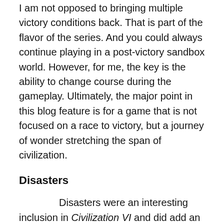I am not opposed to bringing multiple victory conditions back. That is part of the flavor of the series. And you could always continue playing in a post-victory sandbox world. However, for me, the key is the ability to change course during the gameplay. Ultimately, the major point in this blog feature is for a game that is not focused on a race to victory, but a journey of wonder stretching the span of civilization.
Disasters
Disasters were an interesting inclusion in Civilization VI and did add an element that could change things up through the course of a game. I would like to see them return in the next iteration. They would be perfectly mixed with the random event feature mentioned previously. Perhaps some disasters like storms would be less graphical and prolonged like they are in Civilization VI, since Luxembourg utilizes them and then after the...